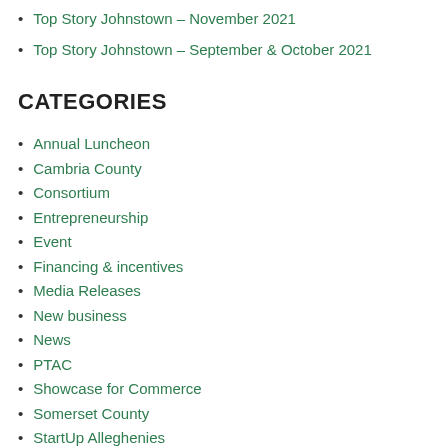Top Story Johnstown – November 2021
Top Story Johnstown – September & October 2021
CATEGORIES
Annual Luncheon
Cambria County
Consortium
Entrepreneurship
Event
Financing & incentives
Media Releases
New business
News
PTAC
Showcase for Commerce
Somerset County
StartUp Alleghenies
Top Story Johnstown